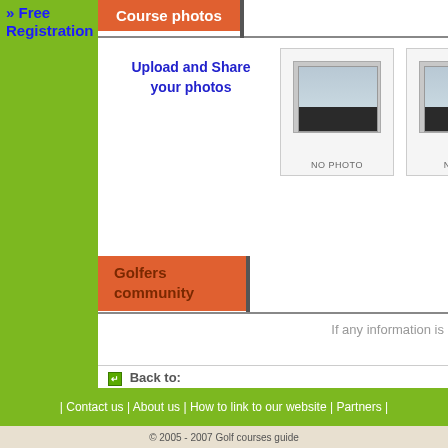» Free Registration
Course photos
Upload and Share your photos
[Figure (photo): No photo placeholder 1 with stacked photo frame effect, showing NO PHOTO label]
[Figure (photo): No photo placeholder 2 with stacked photo frame effect, showing NO PHO label (cropped)]
Golfers community
If any information is
Back to:
» Daufuskie Island golf courses
» South Carolina golf courses
» United States golf courses
| Contact us | About us | How to link to our website | Partners |
© 2005 - 2007 Golf courses guide